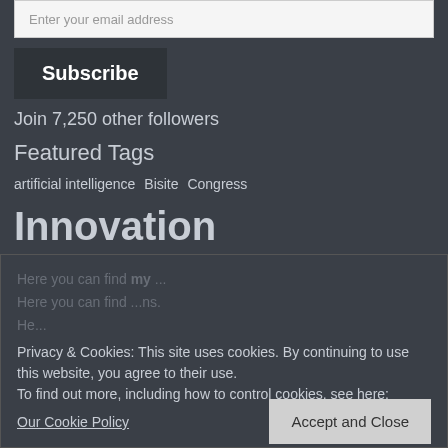Enter your email address
Subscribe
Join 7,250 other followers
Featured Tags
artificial intelligence  Bisite  Congress  Innovation  investigation  IoT  project  Research  technology
Here you can find my ORCID iD.
Here you can find my Scholar
Privacy & Cookies: This site uses cookies. By continuing to use this website, you agree to their use. To find out more, including how to control cookies, see here: Our Cookie Policy
Accept and Close